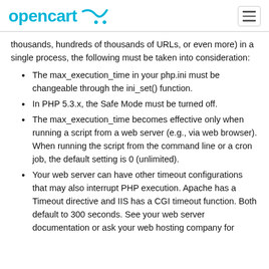opencart [logo]
thousands, hundreds of thousands of URLs, or even more) in a single process, the following must be taken into consideration:
The max_execution_time in your php.ini must be changeable through the ini_set() function.
In PHP 5.3.x, the Safe Mode must be turned off.
The max_execution_time becomes effective only when running a script from a web server (e.g., via web browser). When running the script from the command line or a cron job, the default setting is 0 (unlimited).
Your web server can have other timeout configurations that may also interrupt PHP execution. Apache has a Timeout directive and IIS has a CGI timeout function. Both default to 300 seconds. See your web server documentation or ask your web hosting company for